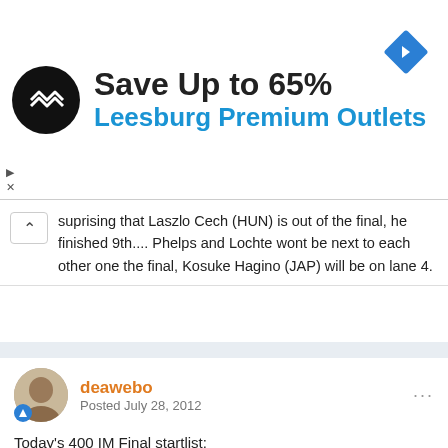[Figure (infographic): Advertisement banner: black circle logo with arrows icon, 'Save Up to 65%' in bold black, 'Leesburg Premium Outlets' in blue, blue diamond navigation icon top right]
suprising that Laszlo Cech (HUN) is out of the final, he finished 9th.... Phelps and Lochte wont be next to each other one the final, Kosuke Hagino (JAP) will be on lane 4.
deawebo
Posted July 28, 2012
Today's 400 IM Final startlist:
1 Kosuke Hagino Japan 4:10.01 Q
2 Chad le Clos South Africa 4:12.24 Q
3 Ryan Lochte United States 4:12.35 Q
4 Thiago Pereira Brazil 4:12.39 Q